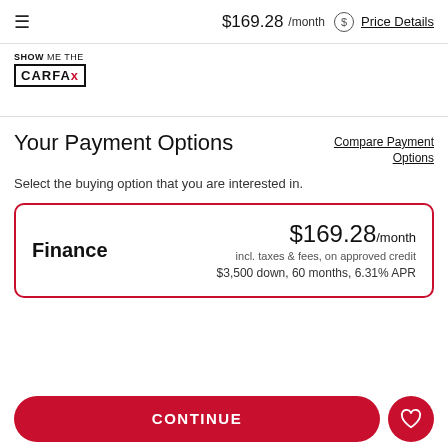$169.28 /month  Price Details
[Figure (logo): SHOW ME THE CARFAX logo]
Your Payment Options
Compare Payment Options
Select the buying option that you are interested in.
| Option | Price | Details |
| --- | --- | --- |
| Finance | $169.28/month | incl. taxes & fees, on approved credit
$3,500 down, 60 months, 6.31% APR |
CONTINUE